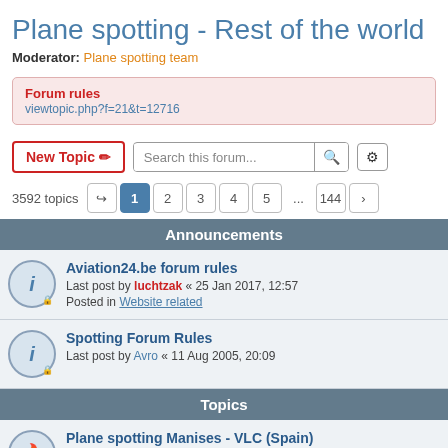Plane spotting - Rest of the world
Moderator: Plane spotting team
Forum rules
viewtopic.php?f=21&t=12716
New Topic
3592 topics  1 2 3 4 5 ... 144
Announcements
Aviation24.be forum rules
Last post by luchtzak « 25 Jan 2017, 12:57
Posted in Website related
Spotting Forum Rules
Last post by Avro « 11 Aug 2005, 20:09
Topics
Plane spotting Manises - VLC (Spain)
Last post by antiguogrumete « 27 Aug 2022, 10:01
Replies: 587  1 ... 27 28 29 30